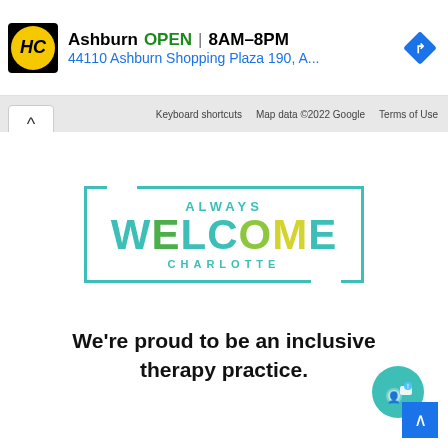[Figure (screenshot): Screenshot of a business listing banner showing HC logo, Ashburn OPEN 8AM-8PM, address 44110 Ashburn Shopping Plaza 190 A..., navigation diamond icon, and Google Maps footer with keyboard shortcuts and map data copyright]
[Figure (logo): Always Welcome Charlotte logo - teal rectangular border with ALWAYS in teal letters at top, WELCOME in large mixed green/teal letters in center, CHARLOTTE in small teal letters at bottom]
We're proud to be an inclusive therapy practice.